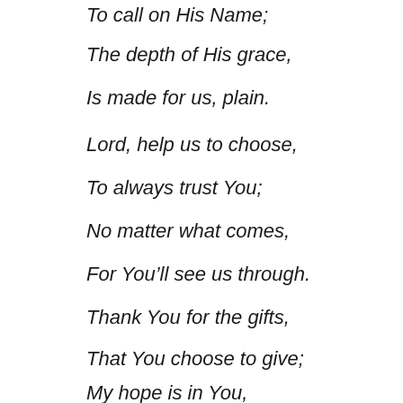To call on His Name;
The depth of His grace,
Is made for us, plain.
Lord, help us to choose,
To always trust You;
No matter what comes,
For You'll see us through.
Thank You for the gifts,
That You choose to give;
My hope is in You,